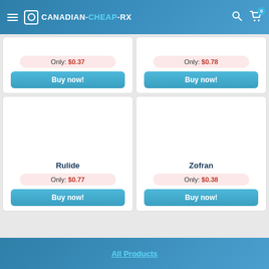CANADIAN-CHEAP-RX
Only: $0.37
Buy now!
Only: $0.78
Buy now!
Rulide
Only: $0.77
Buy now!
Zofran
Only: $0.38
Buy now!
All Products